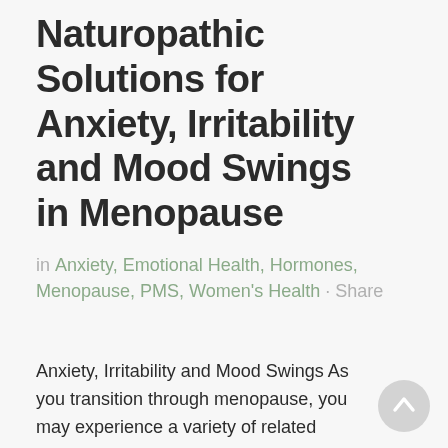Naturopathic Solutions for Anxiety, Irritability and Mood Swings in Menopause
in Anxiety, Emotional Health, Hormones, Menopause, PMS, Women's Health · Share
Anxiety, Irritability and Mood Swings As you transition through menopause, you may experience a variety of related symptoms. Some may occur infrequently and others